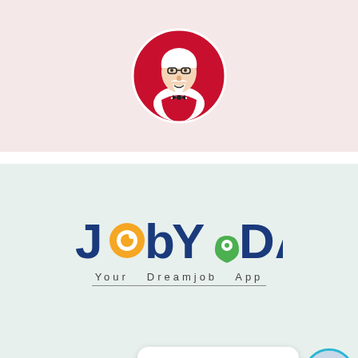[Figure (logo): KFC logo — Colonel Sanders face in a red circle with 'KFC' text in white, on a light pink background]
[Figure (logo): JobYoDA logo — stylized text with orange 'o' as a circular icon, green map-pin replacing 'o' in Yo, dark blue letters, tagline 'Your Dreamjob App' below on a light mint green background]
We're Online!
How may I help you toda...